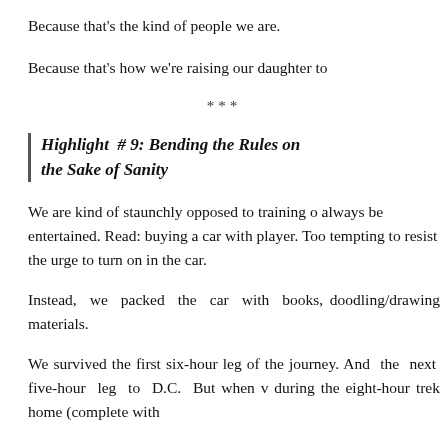Because that's the kind of people we are.
Because that's how we're raising our daughter to
***
Highlight # 9: Bending the Rules on the Sake of Sanity
We are kind of staunchly opposed to training o always be entertained. Read: buying a car with player. Too tempting to resist the urge to turn on in the car.
Instead, we packed the car with books, doodling/drawing materials.
We survived the first six-hour leg of the journey. And the next five-hour leg to D.C. But when v during the eight-hour trek home (complete with